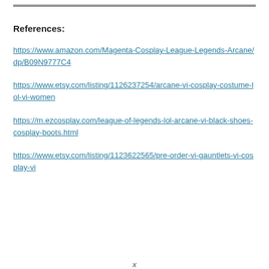References:
https://www.amazon.com/Magenta-Cosplay-League-Legends-Arcane/dp/B09N9777C4
https://www.etsy.com/listing/1126237254/arcane-vi-cosplay-costume-lol-vi-women
https://m.ezcosplay.com/league-of-legends-lol-arcane-vi-black-shoes-cosplay-boots.html
https://www.etsy.com/listing/1123622565/pre-order-vi-gauntlets-vi-cosplay-vi
x